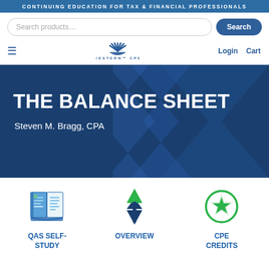CONTINUING EDUCATION FOR TAX & FINANCIAL PROFESSIONALS
Search products…
Search
[Figure (logo): Western CPE logo with sun-ray icon and spaced text WESTERN CPE]
Login   Cart
[Figure (illustration): Dark blue hero banner with chevron arrow shapes on right side, title THE BALANCE SHEET and author Steven M. Bragg CPA]
THE BALANCE SHEET
Steven M. Bragg, CPA
[Figure (illustration): Open book icon in blue tones representing QAS Self-Study]
QAS SELF-STUDY
[Figure (illustration): Up and down arrows in green and dark blue representing Overview]
OVERVIEW
[Figure (illustration): Star inside a circle with green outline representing CPE Credits]
CPE CREDITS